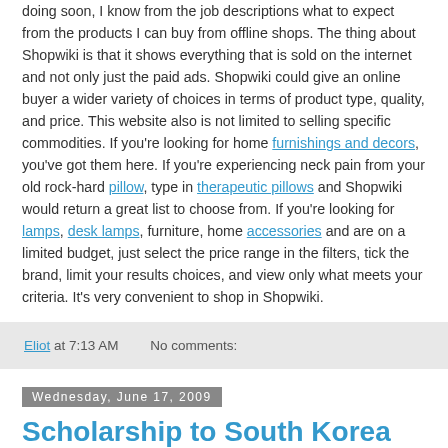doing soon, I know from the job descriptions what to expect from the products I can buy from offline shops. The thing about Shopwiki is that it shows everything that is sold on the internet and not only just the paid ads. Shopwiki could give an online buyer a wider variety of choices in terms of product type, quality, and price. This website also is not limited to selling specific commodities. If you're looking for home furnishings and decors, you've got them here. If you're experiencing neck pain from your old rock-hard pillow, type in therapeutic pillows and Shopwiki would return a great list to choose from. If you're looking for lamps, desk lamps, furniture, home accessories and are on a limited budget, just select the price range in the filters, tick the brand, limit your results choices, and view only what meets your criteria. It's very convenient to shop in Shopwiki.
Eliot at 7:13 AM    No comments:
Wednesday, June 17, 2009
Scholarship to South Korea for Spring Semester 2010